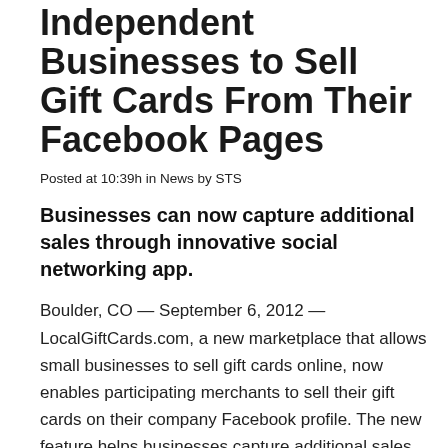Independent Businesses to Sell Gift Cards From Their Facebook Pages
Posted at 10:39h in News by STS
Businesses can now capture additional sales through innovative social networking app.
Boulder, CO — September 6, 2012 — LocalGiftCards.com, a new marketplace that allows small businesses to sell gift cards online, now enables participating merchants to sell their gift cards on their company Facebook profile. The new feature helps businesses capture additional sales and